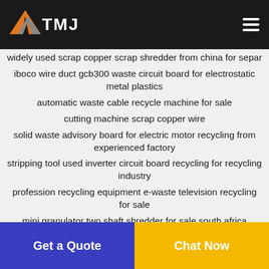TMJ
widely used scrap copper scrap shredder from china for separ
iboco wire duct gcb300 waste circuit board for electrostatic metal plastics
automatic waste cable recycle machine for sale
cutting machine scrap copper wire
solid waste advisory board for electric motor recycling from experienced factory
stripping tool used inverter circuit board recycling for recycling industry
profession recycling equipment e-waste television recycling for sale
mini granulator two shaft shredder for sale south africa
no smell computer precious metal separate equipment